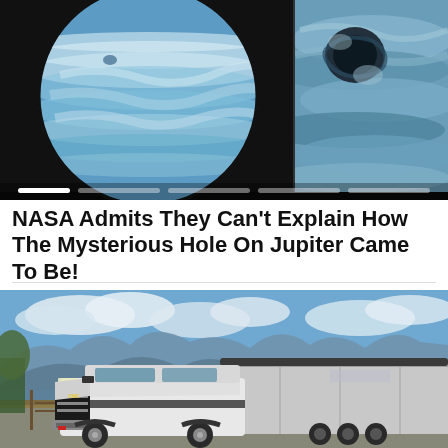[Figure (photo): Two NASA images of Jupiter side by side: left shows the full planet with swirling blue and white cloud bands, right shows a close-up of a dark mysterious hole/spot in Jupiter's clouds. Slider navigation dots visible at bottom.]
NASA Admits They Can't Explain How The Mysterious Hole On Jupiter Came To Be!
The Space Academy
[Figure (photo): A white GMC Sierra heavy-duty pickup truck towing a large silver enclosed cargo trailer, parked on a road with mountains and blue sky in the background.]